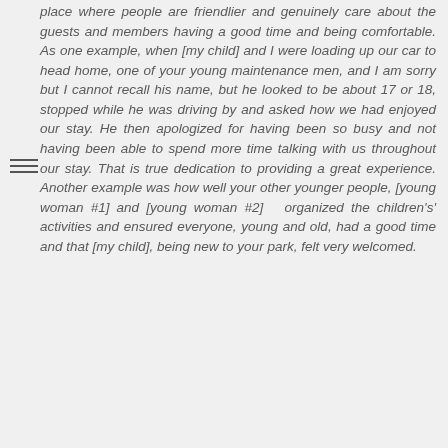place where people are friendlier and genuinely care about the guests and members having a good time and being comfortable. As one example, when [my child] and I were loading up our car to head home, one of your young maintenance men, and I am sorry but I cannot recall his name, but he looked to be about 17 or 18, stopped while he was driving by and asked how we had enjoyed our stay. He then apologized for having been so busy and not having been able to spend more time talking with us throughout our stay. That is true dedication to providing a great experience. Another example was how well your other younger people, [young woman #1] and [young woman #2] organized the children's' activities and ensured everyone, young and old, had a good time and that [my child], being new to your park, felt very welcomed.